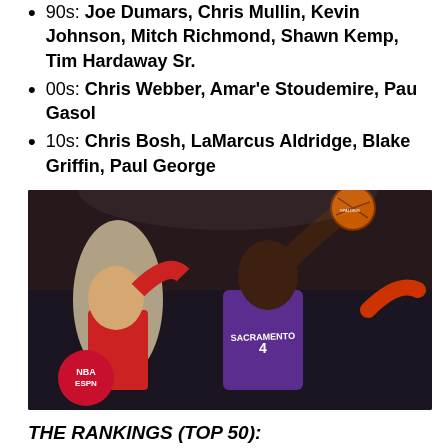90s: Joe Dumars, Chris Mullin, Kevin Johnson, Mitch Richmond, Shawn Kemp, Tim Hardaway Sr.
00s: Chris Webber, Amar'e Stoudemire, Pau Gasol
10s: Chris Bosh, LaMarcus Aldridge, Blake Griffin, Paul George
[Figure (photo): Basketball player in Sacramento Kings #4 purple jersey going up for a dunk or layup against a defender, with NBA ESPN logo visible in bottom left corner]
THE RANKINGS (TOP 50):